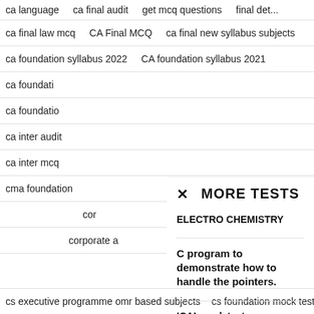ca language  ca final audit  get mcq questions  final det...
ca final law mcq   CA Final MCQ   ca final new syllabus subjects
ca foundation syllabus 2022   CA foundation syllabus 2021
ca foundati...
ca foundatio...
ca inter audit...
ca inter mcq...
cma foundation...
cor...
corporate a...
MORE TESTS
ELECTRO CHEMISTRY
C program to demonstrate how to handle the pointers.
ICAI mock test
depreciation
cs executive programme omr based subjects   cs foundation mock test